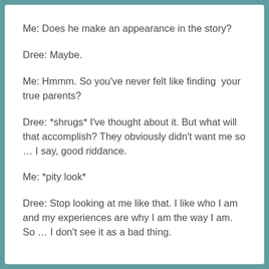Me: Does he make an appearance in the story?
Dree: Maybe.
Me: Hmmm. So you've never felt like finding  your true parents?
Dree: *shrugs* I've thought about it. But what will that accomplish? They obviously didn't want me so … I say, good riddance.
Me: *pity look*
Dree: Stop looking at me like that. I like who I am and my experiences are why I am the way I am. So … I don't see it as a bad thing.